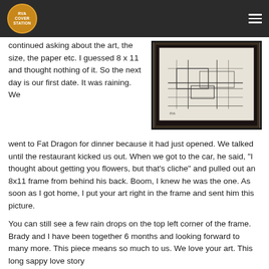RVA Cover Station
continued asking about the art, the size, the paper etc. I guessed 8 x 11 and thought nothing of it. So the next day is our first date. It was raining. We went to Fat Dragon for dinner because it had just opened. We talked until the restaurant kicked us out. When we got to the car, he said, "I thought about getting you flowers, but that's cliche" and pulled out an 8x11 frame from behind his back. Boom, I knew he was the one. As soon as I got home, I put your art right in the frame and sent him this picture.
[Figure (photo): A framed architectural sketch/drawing in a black frame, showing what appears to be a building interior or technical drawing rendered in pen or pencil on white paper.]
You can still see a few rain drops on the top left corner of the frame. Brady and I have been together 6 months and looking forward to many more. This piece means so much to us. We love your art. This long sappy love story